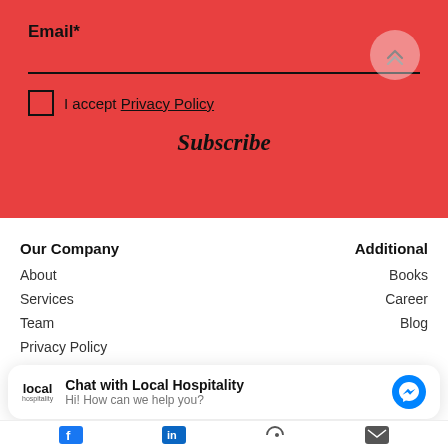Email*
I accept Privacy Policy
Subscribe
Our Company
About
Services
Team
Privacy Policy
Additional
Books
Career
Blog
Chat with Local Hospitality
Hi! How can we help you?